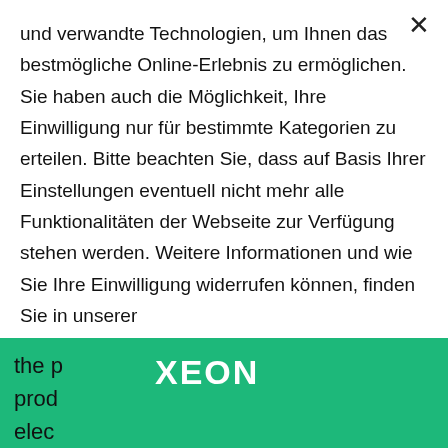und verwandte Technologien, um Ihnen das bestmögliche Online-Erlebnis zu ermöglichen. Sie haben auch die Möglichkeit, Ihre Einwilligung nur für bestimmte Kategorien zu erteilen. Bitte beachten Sie, dass auf Basis Ihrer Einstellungen eventuell nicht mehr alle Funktionalitäten der Webseite zur Verfügung stehen werden. Weitere Informationen und wie Sie Ihre Einwilligung widerrufen können, finden Sie in unserer Datenschutzerklärung
✓ NOTWENDIGE COOKIES   ☐ LEISTUNGS-COOKIES
☐ TARGETING-COOKIES
⚙ MEHR INFORMATIONEN
the p XEON prod elect